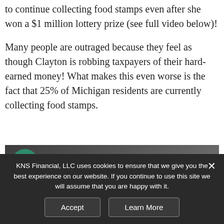to continue collecting food stamps even after she won a $1 million lottery prize (see full video below)!
Many people are outraged because they feel as though Clayton is robbing taxpayers of their hard-earned money! What makes this even worse is the fact that 25% of Michigan residents are currently collecting food stamps.
[Figure (screenshot): Video thumbnail showing a YouTube-style video player with a teal avatar marked 'T' and the title 'lottery winner on food sta...' with a three-dot menu icon, over a dark outdoor background.]
KNS Financial, LLC uses cookies to ensure that we give you the best experience on our website. If you continue to use this site we will assume that you are happy with it.
Accept
Learn More